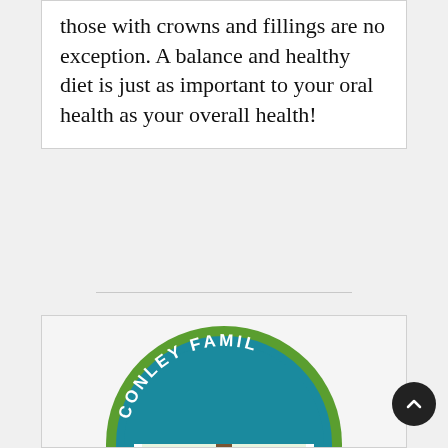those with crowns and fillings are no exception. A balance and healthy diet is just as important to your oral health as your overall health!
[Figure (logo): Conley Family dental practice circular logo with teal and green colors, partially visible at bottom of page]